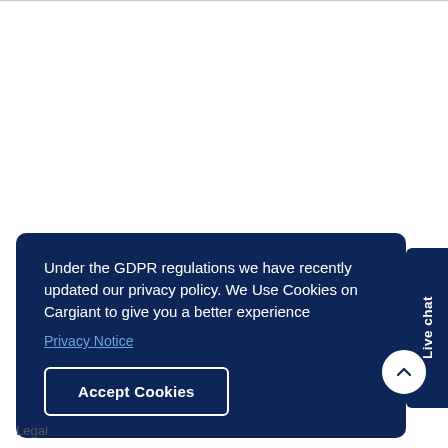Under the GDPR regulations we have recently updated our privacy policy. We Use Cookies on Cargiant to give you a better experience
Privacy Notice
Accept Cookies
Live chat
Legal